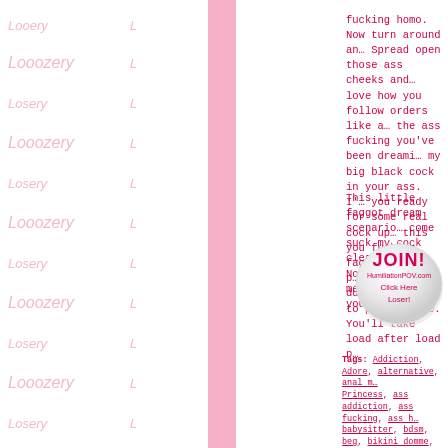[Figure (illustration): Sidebar with repeating 'Looozery' watermark text in light pink on white background, with a solid pink vertical bar]
fucking homo. Now turn around and… Spread open those ass cheeks and s… love how you follow orders like a l… the ass fucking you've been dreami… my big black cock in your ass. I'… you ready for some real cock up … this you fucking fag. I need to p… bunch of dudes over here to put yo… hole. You'll take load after load p…
This little faggot dream scenario … come suck my cock clean, fag. Now … some real men and make your faggot…
[Figure (illustration): Round glossy button/badge with text 'JOIN! HumiliationPOV.com Click Here Loser!' in pink on white/grey glossy background]
Tags: Addiction, Adore, alternative, anal m… Princess, ass addiction, ass fucking, ass h… babysitter, bdsm, beg, bikini domme, bi… fantasy, blowjobs, boob worship, boot c… boyfriend humiliation, brainfuck, brainless… bratprincess, cbt, cei, Chastity, Chronic Ma…